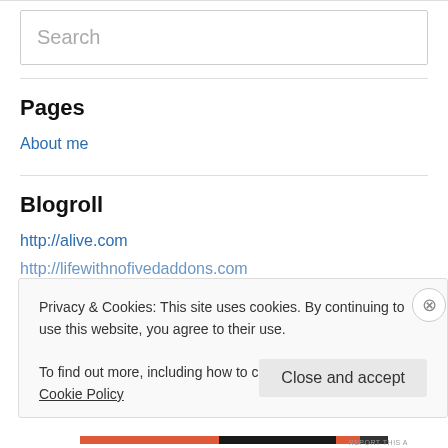Search
Pages
About me
Blogroll
http://alive.com
http://lifewithnofivedaddons.com
Privacy & Cookies: This site uses cookies. By continuing to use this website, you agree to their use. To find out more, including how to control cookies, see here: Cookie Policy
Close and accept